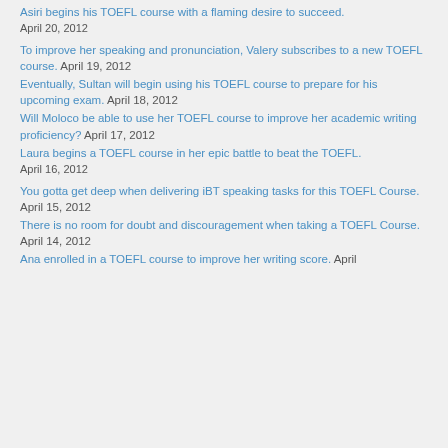Asiri begins his TOEFL course with a flaming desire to succeed.
April 20, 2012
To improve her speaking and pronunciation, Valery subscribes to a new TOEFL course. April 19, 2012
Eventually, Sultan will begin using his TOEFL course to prepare for his upcoming exam. April 18, 2012
Will Moloco be able to use her TOEFL course to improve her academic writing proficiency? April 17, 2012
Laura begins a TOEFL course in her epic battle to beat the TOEFL.
April 16, 2012
You gotta get deep when delivering iBT speaking tasks for this TOEFL Course. April 15, 2012
There is no room for doubt and discouragement when taking a TOEFL Course. April 14, 2012
Ana enrolled in a TOEFL course to improve her writing score. April